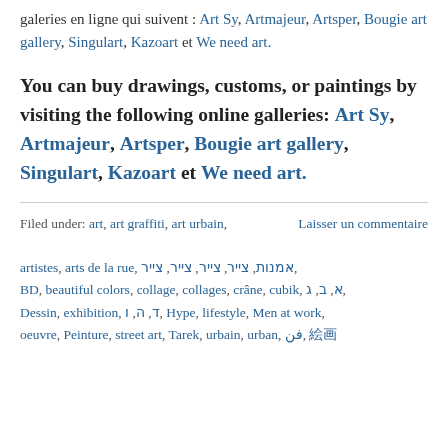galeries en ligne qui suivent : Art Sy, Artmajeur, Artsper, Bougie art gallery, Singulart, Kazoart et We need art.
You can buy drawings, customs, or paintings by visiting the following online galleries: Art Sy, Artmajeur, Artsper, Bougie art gallery, Singulart, Kazoart et We need art.
Filed under: art, art graffiti, art urbain, artistes, arts de la rue, BD, beautiful colors, collage, collages, crâne, cubik, Dessin, exhibition, Hype, lifestyle, Men at work, oeuvre, Peinture, street art, Tarek, urbain, urban, فن, 絵画  Laisser un commentaire